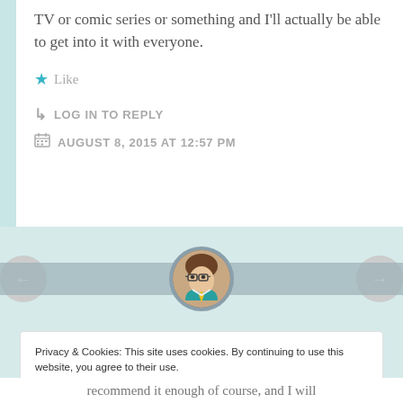TV or comic series or something and I'll actually be able to get into it with everyone.
★ Like
↳ LOG IN TO REPLY
AUGUST 8, 2015 AT 12:57 PM
[Figure (illustration): Circular avatar illustration of a cartoon character with glasses and teal/green jacket on a grey stripe background, with left and right navigation arrows]
Privacy & Cookies: This site uses cookies. By continuing to use this website, you agree to their use. To find out more, including how to control cookies, see here: Cookie Policy
Close and accept
recommend it enough of course, and I will